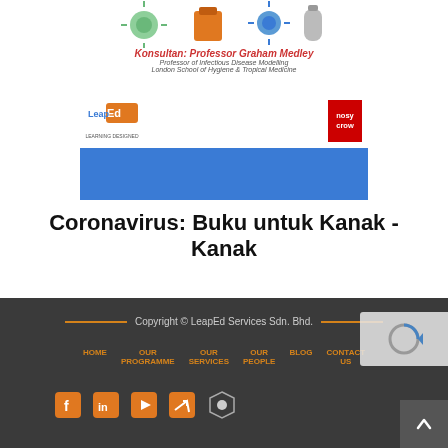[Figure (illustration): Book cover for 'Coronavirus: Buku untuk Kanak-Kanak' showing a blue background with cartoon illustrations of viruses and items, consultant name Professor Graham Medley, LeapEd and Nosy Crow logos]
Coronavirus: Buku untuk Kanak - Kanak
Copyright © LeapEd Services Sdn. Bhd.
HOME  OUR PROGRAMME  OUR SERVICES  OUR PEOPLE  BLOG  CONTACT US